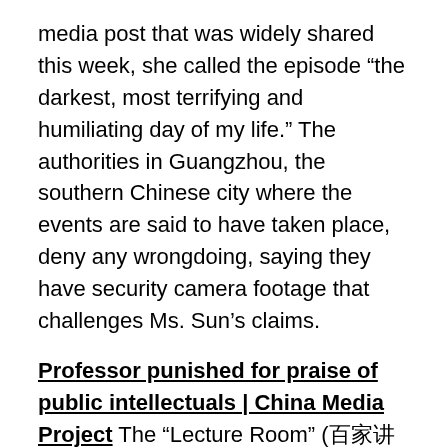media post that was widely shared this week, she called the episode “the darkest, most terrifying and humiliating day of my life.” The authorities in Guangzhou, the southern Chinese city where the events are said to have taken place, deny any wrongdoing, saying they have security camera footage that challenges Ms. Sun’s claims.
Professor punished for praise of public intellectuals | China Media Project The “Lecture Room” (百家讲坛) program on China Central Television, the country’s state broadcaster, is now running a special series of episodes called “Bringing the Language of ‘Ping’ Closer to the People: The Dictionary of General Secretary Xi Jinping (平“语”近人——习近平总书记用语词典). From October 8 through October 19, the program will run at 8PM each night. The program, created jointly by the Central